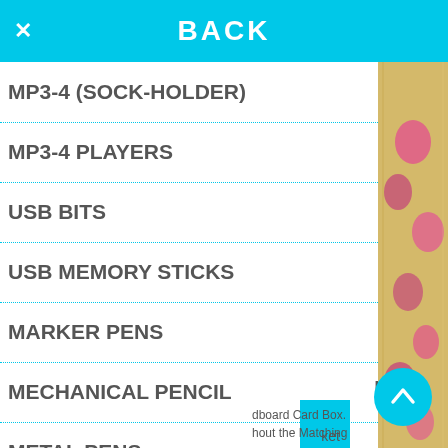BACK
MP3-4 (SOCK-HOLDER)
MP3-4 PLAYERS
USB BITS
USB MEMORY STICKS
MARKER PENS
MECHANICAL PENCIL
METAL PENS
PEN POTS (DESK TIDY)
[Figure (photo): Product image — a decorative book or box with floral/heart pattern, viewed from the side/spine]
BOX
dboard Card Box. hout the Matching